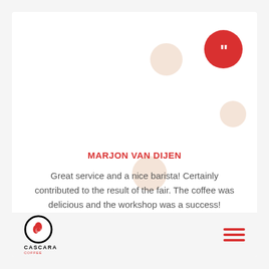[Figure (illustration): Decorative circles: peach/salmon colored circles and a red circle with a quotation mark icon, used as visual design elements on the card background.]
MARJON VAN DIJEN
Great service and a nice barista! Certainly contributed to the result of the fair. The coffee was delicious and the workshop was a success!
[Figure (logo): Cascara logo: circular black border with a stylized red coffee cherry icon inside, with the text CASCARA below in bold uppercase letters and a small red subtext.]